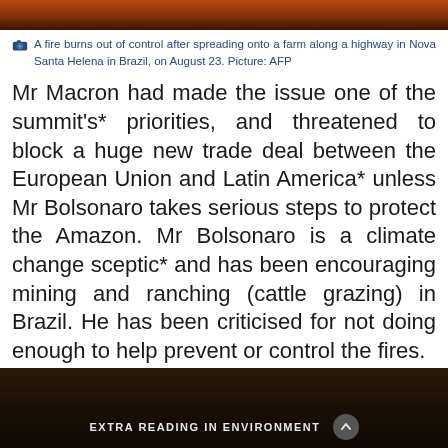[Figure (photo): Top portion of a fire burning out of control, dark orange and brown tones]
A fire burns out of control after spreading onto a farm along a highway in Nova Santa Helena in Brazil, on August 23. Picture: AFP
Mr Macron had made the issue one of the summit's* priorities, and threatened to block a huge new trade deal between the European Union and Latin America* unless Mr Bolsonaro takes serious steps to protect the Amazon. Mr Bolsonaro is a climate change sceptic* and has been encouraging mining and ranching (cattle grazing) in Brazil. He has been criticised for not doing enough to help prevent or control the fires.
[Figure (photo): Bottom portion showing dark image with 'EXTRA READING IN ENVIRONMENT' label and chevron button]